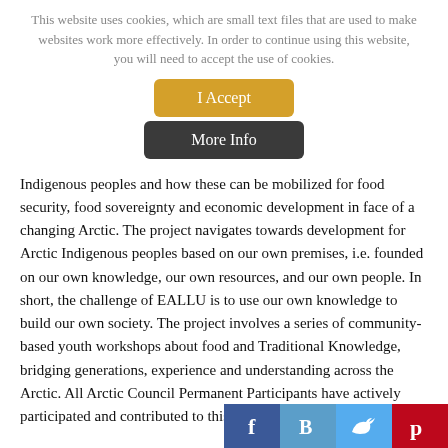This website uses cookies, which are small text files that are used to make websites work more effectively. In order to continue using this website, you will need to accept the use of cookies.
[Figure (other): Two buttons: 'I Accept' (gold/orange background) and 'More Info' (dark/charcoal background)]
Indigenous peoples and how these can be mobilized for food security, food sovereignty and economic development in face of a changing Arctic. The project navigates towards development for Arctic Indigenous peoples based on our own premises, i.e. founded on our own knowledge, our own resources, and our own people. In short, the challenge of EALLU is to use our own knowledge to build our own society. The project involves a series of community-based youth workshops about food and Traditional Knowledge, bridging generations, experience and understanding across the Arctic. All Arctic Council Permanent Participants have actively participated and contributed to this work.
[Figure (other): Social media sharing icons: Facebook (f), Blogger (B), Twitter (bird), Pinterest (p)]